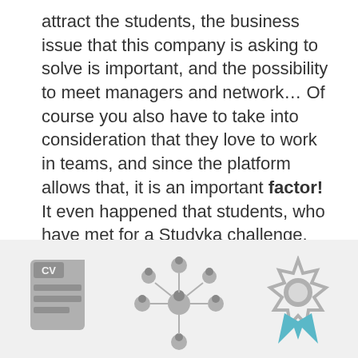attract the students, the business issue that this company is asking to solve is important, and the possibility to meet managers and network… Of course you also have to take into consideration that they love to work in teams, and since the platform allows that, it is an important factor! It even happened that students, who have met for a Studyka challenge, actually created a company around their idea, went back to the company that initiated the challenge, which turn into paying clients!
[Figure (infographic): Three icons in a light gray band: a CV/document icon labeled 'Experience', a network of people icons labeled 'Network', and an award ribbon icon labeled 'Awards']